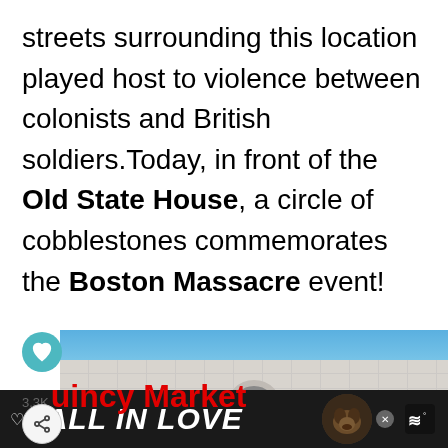streets surrounding this location played host to violence between colonists and British soldiers.Today, in front of the Old State House, a circle of cobblestones commemorates the Boston Massacre event!
[Figure (screenshot): Social media interface showing a like button (heart icon in teal circle), count '3.3K', share button, and partially visible text 'uincy Market' in bold red, overlapping with a building photograph showing a white/grey stone facade with round window and blue sky. Bottom portion shows 'WHAT'S NEXT' thumbnail with 'How to Make the Most of ...' label. At the very bottom is a dark advertisement bar reading 'FALL IN LOVE' in white italic bold text with a dog image.]